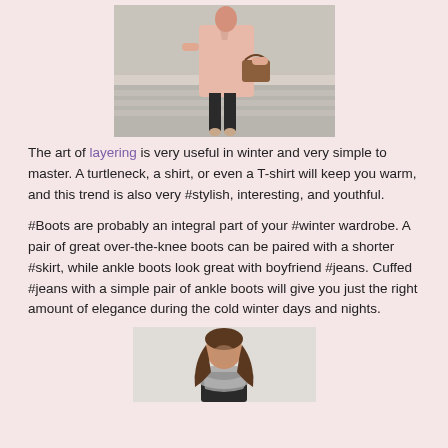[Figure (photo): Woman in pink coat and black skinny pants with heels walking on a street, carrying a brown bag]
The art of layering is very useful in winter and very simple to master. A turtleneck, a shirt, or even a T-shirt will keep you warm, and this trend is also very #stylish, interesting, and youthful.
#Boots are probably an integral part of your #winter wardrobe. A pair of great over-the-knee boots can be paired with a shorter #skirt, while ankle boots look great with boyfriend #jeans. Cuffed #jeans with a simple pair of ankle boots will give you just the right amount of elegance during the cold winter days and nights.
[Figure (photo): Woman with long brown hair wearing a scarf, looking down]